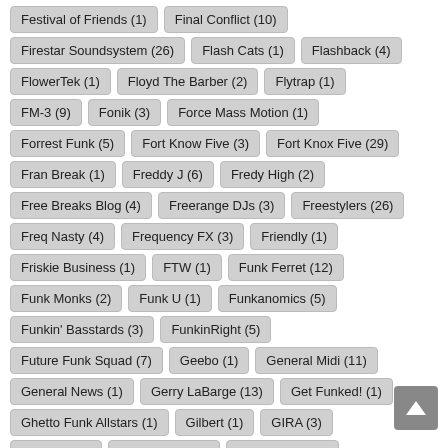Festival of Friends (1)
Final Conflict (10)
Firestar Soundsystem (26)
Flash Cats (1)
Flashback (4)
FlowerTek (1)
Floyd The Barber (2)
Flytrap (1)
FM-3 (9)
Fonik (3)
Force Mass Motion (1)
Forrest Funk (5)
Fort Know Five (3)
Fort Knox Five (29)
Fran Break (1)
Freddy J (6)
Fredy High (2)
Free Breaks Blog (4)
Freerange DJs (3)
Freestylers (26)
Freq Nasty (4)
Frequency FX (3)
Friendly (1)
Friskie Business (1)
FTW (1)
Funk Ferret (12)
Funk Monks (2)
Funk U (1)
Funkanomics (5)
Funkin' Basstards (3)
FunkinRight (5)
Future Funk Squad (7)
Geebo (1)
General Midi (11)
General News (1)
Gerry LaBarge (13)
Get Funked! (1)
Ghetto Funk Allstars (1)
Gilbert (1)
GIRA (3)
Global-E (2)
Goneamuck (1)
Goodgroove (3)
Gosize (2)
Gramophone Soul (13)
Gregarious (4)